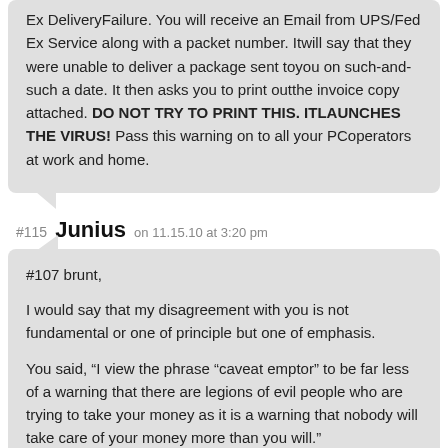Ex DeliveryFailure. You will receive an Email from UPS/Fed Ex Service along with a packet number. Itwill say that they were unable to deliver a package sent toyou on such-and-such a date. It then asks you to print outthe invoice copy attached. DO NOT TRY TO PRINT THIS. ITLAUNCHES THE VIRUS! Pass this warning on to all your PCoperators at work and home.
#115 Junius on 11.15.10 at 3:20 pm
#107 brunt,
I would say that my disagreement with you is not fundamental or one of principle but one of emphasis.
You said, “I view the phrase “caveat emptor” to be far less of a warning that there are legions of evil people who are trying to take your money as it is a warning that nobody will take care of your money more than you will.”
Clearly I agree that people need to be careful and learn more before making important decisions. However there are 2 major problems with “caveat emptor” beyond that. The first is the complexity of our society